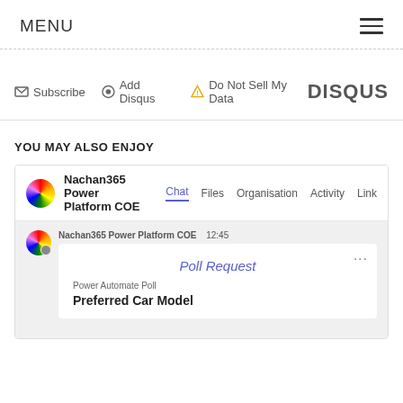MENU
Subscribe  Add Disqus  Do Not Sell My Data  DISQUS
YOU MAY ALSO ENJOY
[Figure (screenshot): Microsoft Teams channel screenshot showing Nachan365 Power Platform COE channel with Chat, Files, Organisation, Activity, Links tabs. A message from Nachan365 Power Platform COE at 12:45 shows a poll card titled 'Poll Request' with subtitle 'Power Automate Poll' and question 'Preferred Car Model'.]